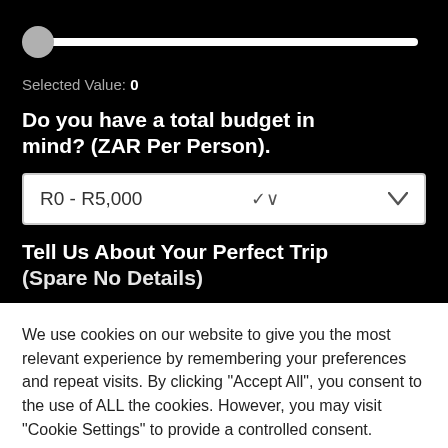[Figure (other): Slider control showing a horizontal white track with a grey circular thumb at the leftmost position]
Selected Value: 0
Do you have a total budget in mind? (ZAR Per Person).
[Figure (other): Dropdown selector showing 'R0 - R5,000' with a chevron arrow on the right]
Tell Us About Your Perfect Trip (Spare No Details)
We use cookies on our website to give you the most relevant experience by remembering your preferences and repeat visits. By clicking "Accept All", you consent to the use of ALL the cookies. However, you may visit "Cookie Settings" to provide a controlled consent.
Cookie Settings
Accept All